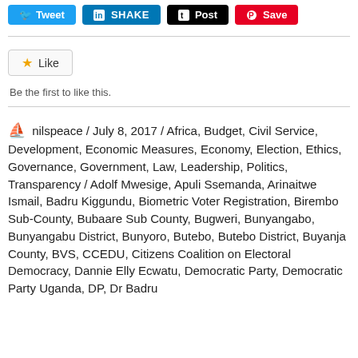[Figure (screenshot): Social media sharing buttons: Tweet (blue Twitter), SHAKE (LinkedIn blue), Post (black Tumblr), Save (red Pinterest)]
[Figure (screenshot): Like button with gold star icon and label 'Like']
Be the first to like this.
nilspeace / July 8, 2017 / Africa, Budget, Civil Service, Development, Economic Measures, Economy, Election, Ethics, Governance, Government, Law, Leadership, Politics, Transparency / Adolf Mwesige, Apuli Ssemanda, Arinaitwe Ismail, Badru Kiggundu, Biometric Voter Registration, Birembo Sub-County, Bubaare Sub County, Bugweri, Bunyangabo, Bunyangabu District, Bunyoro, Butebo, Butebo District, Buyanja County, BVS, CCEDU, Citizens Coalition on Electoral Democracy, Dannie Elly Ecwatu, Democratic Party, Democratic Party Uganda, DP, Dr Badru